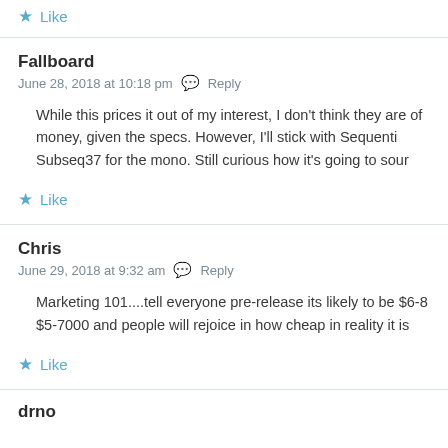Like
Fallboard
June 28, 2018 at 10:18 pm  Reply
While this prices it out of my interest, I don't think they are of money, given the specs. However, I'll stick with Sequenti Subseq37 for the mono. Still curious how it's going to sour
Like
Chris
June 29, 2018 at 9:32 am  Reply
Marketing 101....tell everyone pre-release its likely to be $6-8 $5-7000 and people will rejoice in how cheap in reality it is
Like
drno